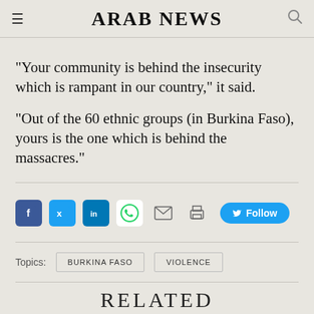ARAB NEWS
“Your community is behind the insecurity which is rampant in our country,” it said.
“Out of the 60 ethnic groups (in Burkina Faso), yours is the one which is behind the massacres.”
[Figure (infographic): Social sharing icons: Facebook, Twitter, LinkedIn, WhatsApp, Email, Print, and a Follow button on Twitter]
Topics: BURKINA FASO  VIOLENCE
RELATED